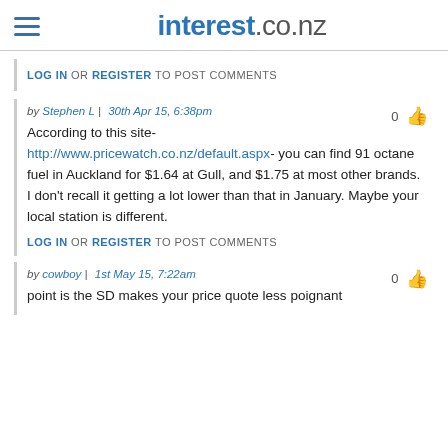interest.co.nz
LOG IN OR REGISTER TO POST COMMENTS
by Stephen L | 30th Apr 15, 6:38pm
According to this site- http://www.pricewatch.co.nz/default.aspx- you can find 91 octane fuel in Auckland for $1.64 at Gull, and $1.75 at most other brands. I don't recall it getting a lot lower than that in January. Maybe your local station is different.
LOG IN OR REGISTER TO POST COMMENTS
by cowboy | 1st May 15, 7:22am
point is the SD makes your price quote less poignant